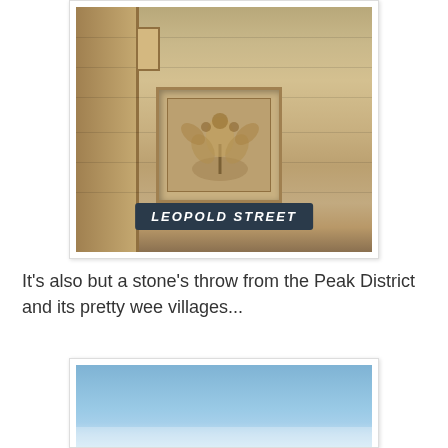[Figure (photo): Photograph of a stone building facade with ornate carved floral decoration panel and a dark street sign reading 'LEOPOLD STREET' in white italic lettering. The stonework is sandstone-coloured with classical architectural detailing.]
It's also but a stone's throw from the Peak District and its pretty wee villages...
[Figure (photo): Partial photograph showing a blue sky with slight haze near the horizon, presumably above a Peak District landscape.]